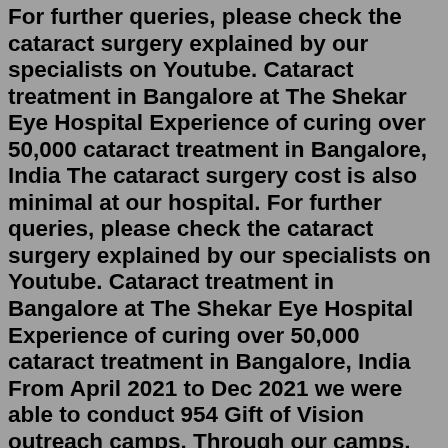For further queries, please check the cataract surgery explained by our specialists on Youtube. Cataract treatment in Bangalore at The Shekar Eye Hospital Experience of curing over 50,000 cataract treatment in Bangalore, India The cataract surgery cost is also minimal at our hospital. For further queries, please check the cataract surgery explained by our specialists on Youtube. Cataract treatment in Bangalore at The Shekar Eye Hospital Experience of curing over 50,000 cataract treatment in Bangalore, India From April 2021 to Dec 2021 we were able to conduct 954 Gift of Vision outreach camps. Through our camps, we have screened over 1,36,644 rural patients. We have performed 65,091 Vision Restoring Cataract Surgeries. We have covered over 82 Districts Pan India through our 12 Sankara Eye Hospitals present across India.Cataract Surgery-Frequently Asked Questions. For a direct link to bladeless laser cataract surgery. 1. What is a Cataract? To see clearly, light from outside needs to reach the retina of the eye with proper focus and amount. Light from